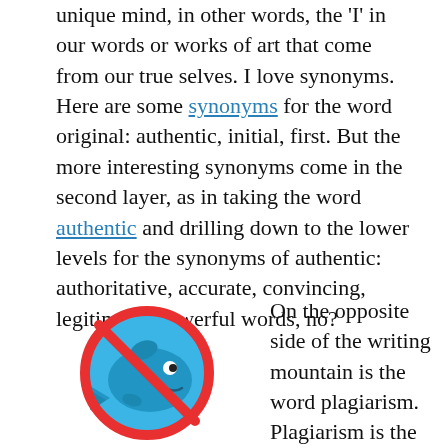unique mind, in other words, the 'I' in our words or works of art that come from our true selves. I love synonyms. Here are some synonyms for the word original: authentic, initial, first. But the more interesting synonyms come in the second layer, as in taking the word authentic and drilling down to the lower levels for the synonyms of authentic: authoritative, accurate, convincing, legitimate. Powerful words, no?
[Figure (illustration): A blue whale/fish cartoon inside a red prohibition circle (no symbol) — a crossed-out whale icon]
On the opposite side of the writing mountain is the word plagiarism. Plagiarism is the